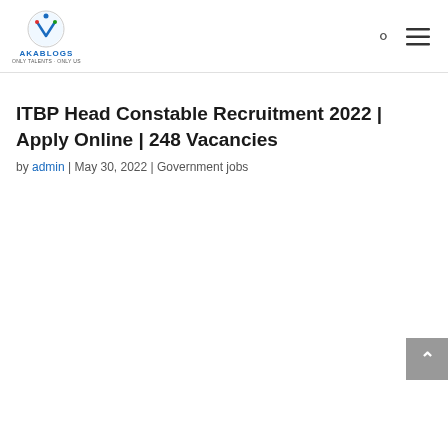AKABLOGS
ITBP Head Constable Recruitment 2022 | Apply Online | 248 Vacancies
by admin | May 30, 2022 | Government jobs